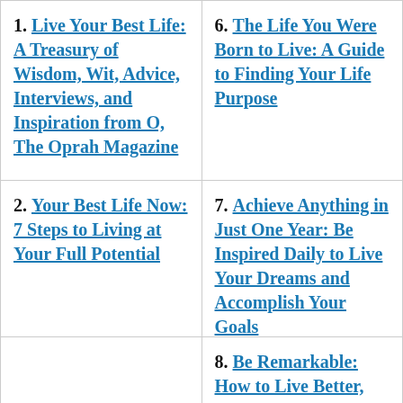1. Live Your Best Life: A Treasury of Wisdom, Wit, Advice, Interviews, and Inspiration from O, The Oprah Magazine
6. The Life You Were Born to Live: A Guide to Finding Your Life Purpose
2. Your Best Life Now: 7 Steps to Living at Your Full Potential
7. Achieve Anything in Just One Year: Be Inspired Daily to Live Your Dreams and Accomplish Your Goals
8. Be Remarkable: How to Live Better,